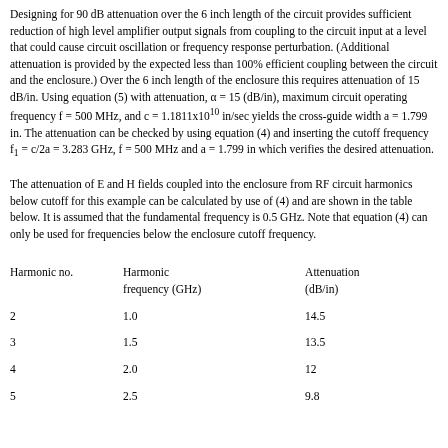Designing for 90 dB attenuation over the 6 inch length of the circuit provides sufficient reduction of high level amplifier output signals from coupling to the circuit input at a level that could cause circuit oscillation or frequency response perturbation. (Additional attenuation is provided by the expected less than 100% efficient coupling between the circuit and the enclosure.) Over the 6 inch length of the enclosure this requires attenuation of 15 dB/in. Using equation (5) with attenuation, α = 15 (dB/in), maximum circuit operating frequency f = 500 MHz, and c = 1.1811x10^10 in/sec yields the cross-guide width a = 1.799 in. The attenuation can be checked by using equation (4) and inserting the cutoff frequency f₁ = c/2a = 3.283 GHz, f = 500 MHz and a = 1.799 in which verifies the desired attenuation.
The attenuation of E and H fields coupled into the enclosure from RF circuit harmonics below cutoff for this example can be calculated by use of (4) and are shown in the table below. It is assumed that the fundamental frequency is 0.5 GHz. Note that equation (4) can only be used for frequencies below the enclosure cutoff frequency.
| Harmonic no. | Harmonic frequency (GHz) | Attenuation (dB/in) |
| --- | --- | --- |
| 2 | 1.0 | 14.5 |
| 3 | 1.5 | 13.5 |
| 4 | 2.0 | 12 |
| 5 | 2.5 | 9.8 |